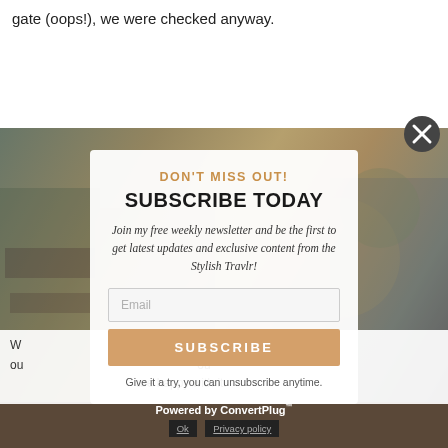gate (oops!), we were checked anyway.
[Figure (screenshot): Modal popup overlay on a travel blog page with a blurred street/shopping scene background. The modal prompts users to subscribe to the Stylish Travlr newsletter.]
DON'T MISS OUT!
SUBSCRIBE TODAY
Join my free weekly newsletter and be the first to get latest updates and exclusive content from the Stylish Travlr!
Email
SUBSCRIBE
Give it a try, you can unsubscribe anytime.
are happy with it.
Powered by ConvertPlug™
Ok   Privacy policy